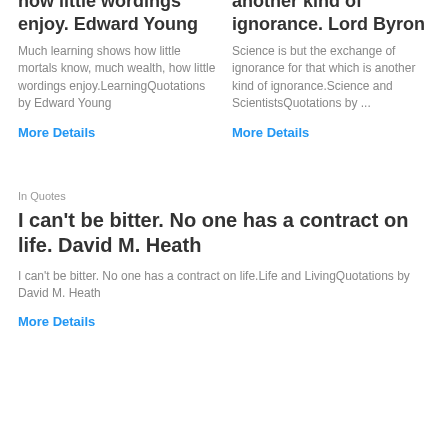how little wordings enjoy. Edward Young
Much learning shows how little mortals know, much wealth, how little wordings enjoy.LearningQuotations by Edward Young
More Details
another kind of ignorance. Lord Byron
Science is but the exchange of ignorance for that which is another kind of ignorance.Science and ScientistsQuotations by ...
More Details
In Quotes
I can't be bitter. No one has a contract on life. David M. Heath
I can't be bitter. No one has a contract on life.Life and LivingQuotations by David M. Heath
More Details